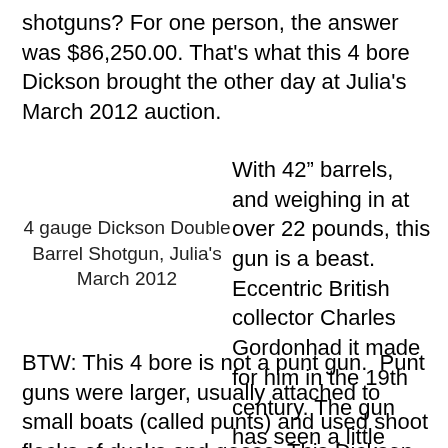shotguns? For one person, the answer was $86,250.00. That's what this 4 bore Dickson brought the other day at Julia's March 2012 auction.
4 gauge Dickson Double Barrel Shotgun, Julia's March 2012
With 42" barrels, and weighing in at over 22 pounds, this gun is a beast. Eccentric British collector Charles Gordonhad it made for him in the 19th century. The gun has seen a little refinishing, but it's still in excellent overall condition.
BTW: This 4 bore is not a punt gun. Punt guns were larger, usually attached to small boats (called punts) and used shoot flocks of ducks and geese. This Dickson would have been fired from the shoulder and used to pass shoot larger